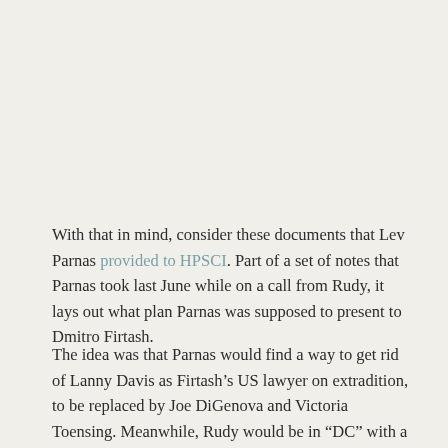With that in mind, consider these documents that Lev Parnas provided to HPSCI. Part of a set of notes that Parnas took last June while on a call from Rudy, it lays out what plan Parnas was supposed to present to Dmitro Firtash.
The idea was that Parnas would find a way to get rid of Lanny Davis as Firtash’s US lawyer on extradition, to be replaced by Joe DiGenova and Victoria Toensing. Meanwhile, Rudy would be in “DC” with a